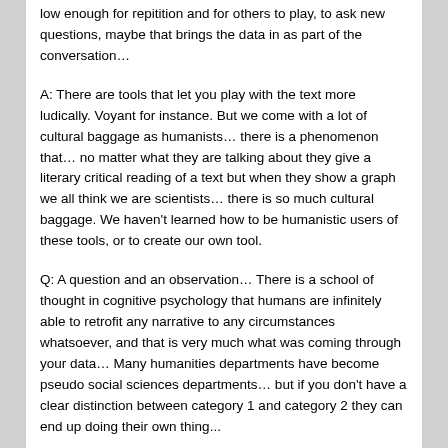low enough for repitition and for others to play, to ask new questions, maybe that brings the data in as part of the conversation…
A: There are tools that let you play with the text more ludically. Voyant for instance. But we come with a lot of cultural baggage as humanists… there is a phenomenon that… no matter what they are talking about they give a literary critical reading of a text but when they show a graph we all think we are scientists… there is so much cultural baggage. We haven't learned how to be humanistic users of these tools, or to create our own tool.
Q: A question and an observation… There is a school of thought in cognitive psychology that humans are infinitely able to retrofit any narrative to any circumstances whatsoever, and that is very much what was coming through your data… Many humanities departments have become pseudo social sciences departments… but if you don't have a clear distinction between category 1 and category 2 they can end up doing their own thing...